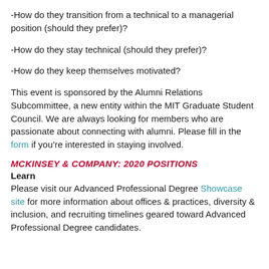-How do they transition from a technical to a managerial position (should they prefer)?
-How do they stay technical (should they prefer)?
-How do they keep themselves motivated?
This event is sponsored by the Alumni Relations Subcommittee, a new entity within the MIT Graduate Student Council. We are always looking for members who are passionate about connecting with alumni. Please fill in the form if you’re interested in staying involved.
MCKINSEY & COMPANY: 2020 POSITIONS
Learn
Please visit our Advanced Professional Degree Showcase site for more information about offices & practices, diversity & inclusion, and recruiting timelines geared toward Advanced Professional Degree candidates.